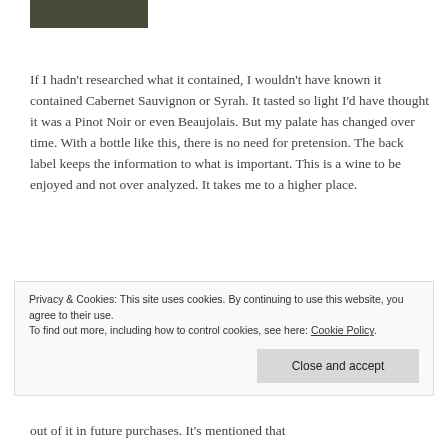[Figure (photo): Partial photo visible at top of page, dark tones]
If I hadn't researched what it contained, I wouldn't have known it contained Cabernet Sauvignon or Syrah. It tasted so light I'd have thought it was a Pinot Noir or even Beaujolais. But my palate has changed over time. With a bottle like this, there is no need for pretension. The back label keeps the information to what is important. This is a wine to be enjoyed and not over analyzed. It takes me to a higher place.
Privacy & Cookies: This site uses cookies. By continuing to use this website, you agree to their use.
To find out more, including how to control cookies, see here: Cookie Policy
out of it in future purchases. It's mentioned that